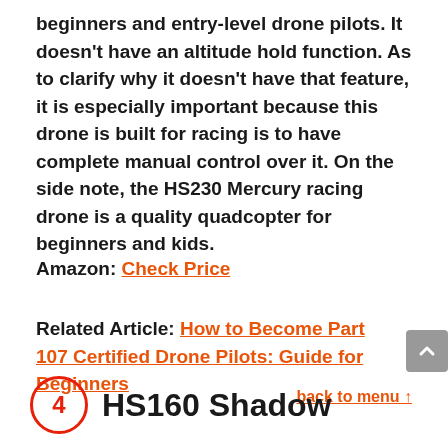beginners and entry-level drone pilots. It doesn't have an altitude hold function. As to clarify why it doesn't have that feature, it is especially important because this drone is built for racing is to have complete manual control over it. On the side note, the HS230 Mercury racing drone is a quality quadcopter for beginners and kids.
Amazon: Check Price
Related Article: How to Become Part 107 Certified Drone Pilots: Guide for Beginners
back to menu ↑
4 HS160 Shadow